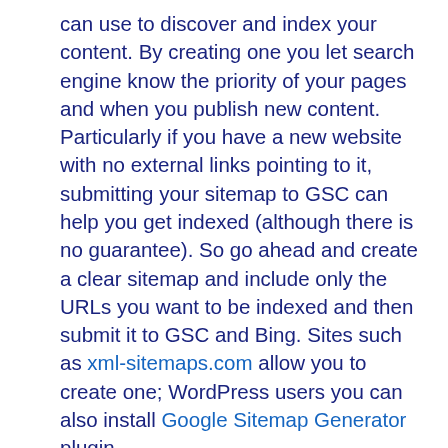can use to discover and index your content. By creating one you let search engine know the priority of your pages and when you publish new content. Particularly if you have a new website with no external links pointing to it, submitting your sitemap to GSC can help you get indexed (although there is no guarantee). So go ahead and create a clear sitemap and include only the URLs you want to be indexed and then submit it to GSC and Bing. Sites such as xml-sitemaps.com allow you to create one; WordPress users you can also install Google Sitemap Generator plugin.